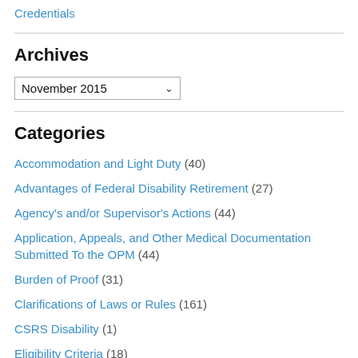Credentials
Archives
November 2015 (dropdown)
Categories
Accommodation and Light Duty (40)
Advantages of Federal Disability Retirement (27)
Agency's and/or Supervisor's Actions (44)
Application, Appeals, and Other Medical Documentation Submitted To the OPM (44)
Burden of Proof (31)
Clarifications of Laws or Rules (161)
CSRS Disability (1)
Eligibility Criteria (18)
Evaluation Of Your OPM Disability Claim – How Do I Know If I Have A Strong Case? (18)